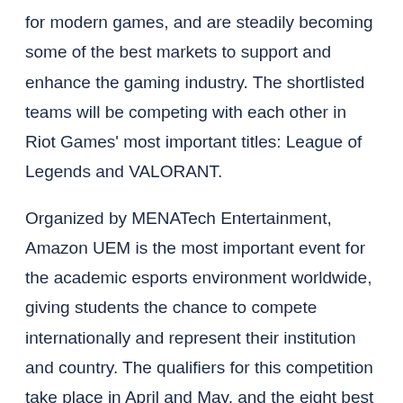for modern games, and are steadily becoming some of the best markets to support and enhance the gaming industry. The shortlisted teams will be competing with each other in Riot Games' most important titles: League of Legends and VALORANT.
Organized by MENATech Entertainment, Amazon UEM is the most important event for the academic esports environment worldwide, giving students the chance to compete internationally and represent their institution and country. The qualifiers for this competition take place in April and May, and the eight best teams from the MENA region will venture towards the Grand Finals, to be held live in July.
Amazon UEM MENA will not only crown its first edition's